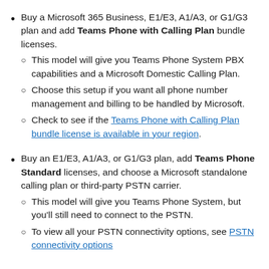Buy a Microsoft 365 Business, E1/E3, A1/A3, or G1/G3 plan and add Teams Phone with Calling Plan bundle licenses.
This model will give you Teams Phone System PBX capabilities and a Microsoft Domestic Calling Plan.
Choose this setup if you want all phone number management and billing to be handled by Microsoft.
Check to see if the Teams Phone with Calling Plan bundle license is available in your region.
Buy an E1/E3, A1/A3, or G1/G3 plan, add Teams Phone Standard licenses, and choose a Microsoft standalone calling plan or third-party PSTN carrier.
This model will give you Teams Phone System, but you'll still need to connect to the PSTN.
To view all your PSTN connectivity options, see PSTN connectivity options